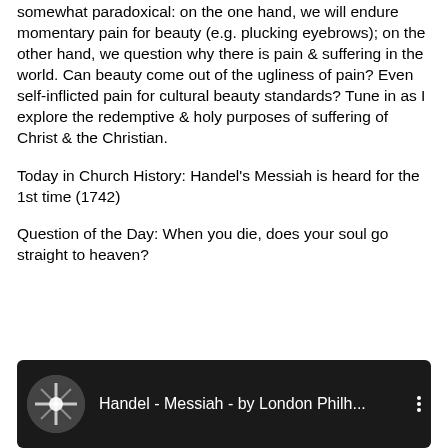Episode 466: When it comes to pain, our culture is somewhat paradoxical: on the one hand, we will endure momentary pain for beauty (e.g. plucking eyebrows); on the other hand, we question why there is pain & suffering in the world. Can beauty come out of the ugliness of pain? Even self-inflicted pain for cultural beauty standards? Tune in as I explore the redemptive & holy purposes of suffering of Christ & the Christian.
Today in Church History: Handel's Messiah is heard for the 1st time (1742)
Question of the Day: When you die, does your soul go straight to heaven?
[Figure (screenshot): YouTube video thumbnail showing 'Handel - Messiah - by London Philh...' with a circular thumbnail image and three-dot menu icon on a dark background.]